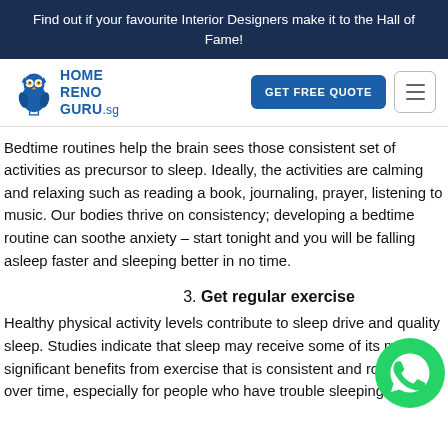Find out if your favourite Interior Designers make it to the Hall of Fame!
[Figure (logo): HomeRenoGuru.sg owl logo with text HOME RENO GURU.sg]
Bedtime routines help the brain sees those consistent set of activities as precursor to sleep. Ideally, the activities are calming and relaxing such as reading a book, journaling, prayer, listening to music. Our bodies thrive on consistency; developing a bedtime routine can soothe anxiety – start tonight and you will be falling asleep faster and sleeping better in no time.
3. Get regular exercise
Healthy physical activity levels contribute to sleep drive and quality sleep. Studies indicate that sleep may receive some of its most significant benefits from exercise that is consistent and routine over time, especially for people who have trouble sleeping. To